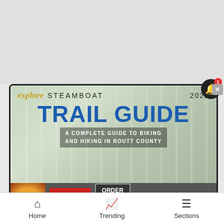[Figure (screenshot): Screenshot of a mobile website showing the Explore Steamboat 2022 Trail Guide cover — A Complete Guide to Biking and Hiking in Routt County — with a Seamless food delivery advertisement overlay and a browser chrome frame.]
TRAIL GUIDE
explore STEAMBOAT 2022
A COMPLETE GUIDE TO BIKING AND HIKING IN ROUTT COUNTY
[Figure (infographic): Seamless food delivery advertisement banner showing pizza image, Seamless logo button in red, and ORDER NOW button in dark with border.]
Home    Trending    Sections